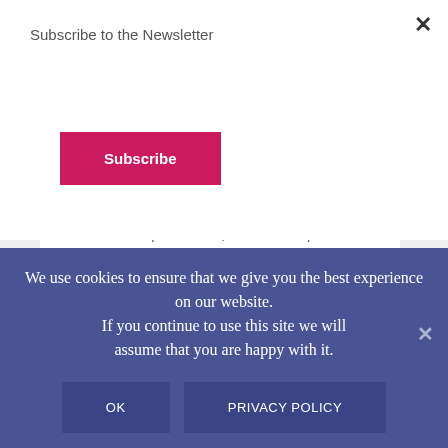Subscribe to the Newsletter
Subscribe
“What goes into someone’s mouth does not defile them, but what comes out of their mouth, that is what defiles them.” -Matthew 15:11
We use cookies to ensure that we give you the best experience on our website. If you continue to use this site we will assume that you are happy with it.
OK
PRIVACY POLICY